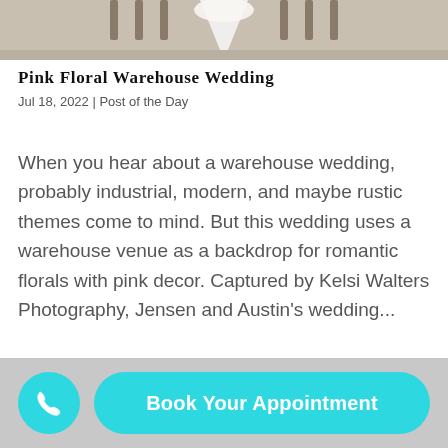[Figure (photo): Top portion of a wedding photo showing a bride in a white dress with a long train, surrounded by wedding party members standing in a row outdoors]
Pink Floral Warehouse Wedding
Jul 18, 2022 | Post of the Day
When you hear about a warehouse wedding, probably industrial, modern, and maybe rustic themes come to mind. But this wedding uses a warehouse venue as a backdrop for romantic florals with pink decor. Captured by Kelsi Walters Photography, Jensen and Austin's wedding...